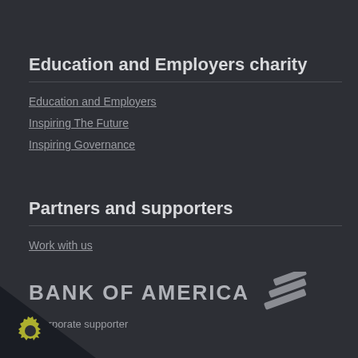Education and Employers charity
Education and Employers
Inspiring The Future
Inspiring Governance
Partners and supporters
Work with us
[Figure (logo): Bank of America logo with flag symbol]
d corporate supporter